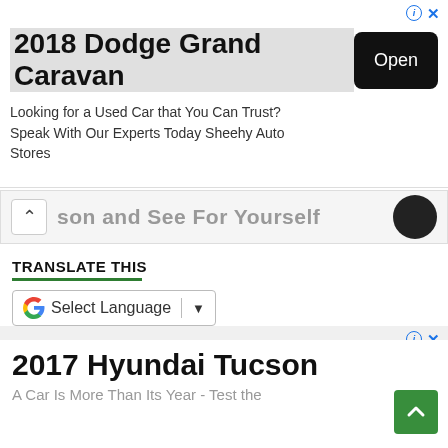[Figure (screenshot): Advertisement banner for 2018 Dodge Grand Caravan with 'Open' button and info/close icons]
son and See For Yourself
TRANSLATE THIS
[Figure (screenshot): Google Translate widget with 'Select Language' dropdown]
[Figure (screenshot): Advertisement for 2017 Hyundai Tucson with blurred background Hyundai imagery]
2017 Hyundai Tucson
A Car Is More Than Its Year - Test the